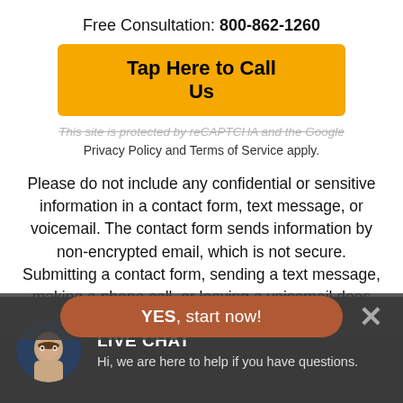Free Consultation: 800-862-1260
Tap Here to Call Us
This site is protected by reCAPTCHA and the Google Privacy Policy and Terms of Service apply.
Please do not include any confidential or sensitive information in a contact form, text message, or voicemail. The contact form sends information by non-encrypted email, which is not secure. Submitting a contact form, sending a text message, making a phone call, or leaving a voicemail does not c...o.
YES, start now!
LIVE CHAT
Hi, we are here to help if you have questions.